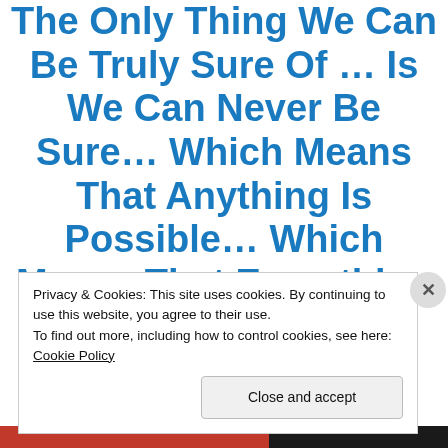The Only Thing We Can Be Truly Sure Of … Is We Can Never Be Sure… Which Means That Anything Is Possible… Which Means That Everything Is Possible.
Privacy & Cookies: This site uses cookies. By continuing to use this website, you agree to their use. To find out more, including how to control cookies, see here: Cookie Policy
Close and accept